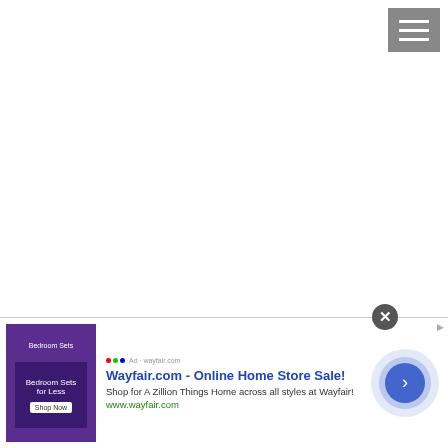[Figure (other): Hamburger/menu icon button in top-right corner, grey background with three white horizontal lines]
It was at this point when I decided to pursue this full time. My love for travel came hand in hand with photography. If it wasn't for
[Figure (screenshot): Advertisement banner for Wayfair.com - Online Home Store Sale. Shows bedroom furniture image on left, ad text in center reading 'Wayfair.com - Online Home Store Sale! Shop for A Zillion Things Home across all styles at Wayfair! www.wayfair.com', and an animated arrow circle on the right. Close button (X) visible at top.]